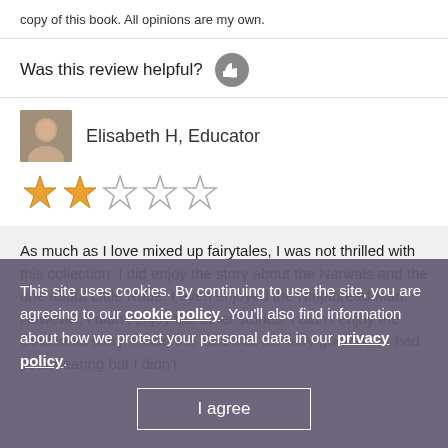copy of this book. All opinions are my own.
Was this review helpful?
Elisabeth H, Educator
[Figure (other): 2 out of 5 stars rating — two filled stars and three empty stars]
As much as I love mixed up fairytales, I was not thrilled with this collection. I did enjoy the story about the Narwals and the one about Little Rude. I even enjoyed the Ninjabread Man. However, I didn't enjoy the other stories. I didn't enjoy the Cinderella story. I liked the idea that the fairy godmother had poor hearing but I didn't
This site uses cookies. By continuing to use the site, you are agreeing to our cookie policy. You'll also find information about how we protect your personal data in our privacy policy.
I agree